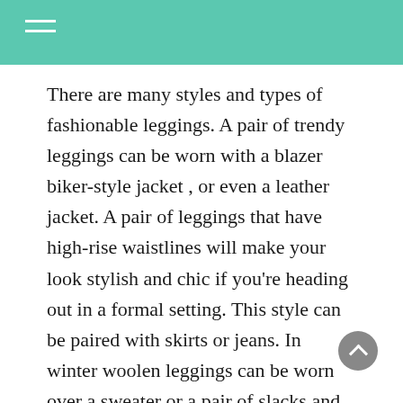There are many styles and types of fashionable leggings. A pair of trendy leggings can be worn with a blazer biker-style jacket , or even a leather jacket. A pair of leggings that have high-rise waistlines will make your look stylish and chic if you're heading out in a formal setting. This style can be paired with skirts or jeans. In winter woolen leggings can be worn over a sweater or a pair of slacks and shoes.
Get answers to all your questions regarding Which is the best place to find YOUTH SHORT